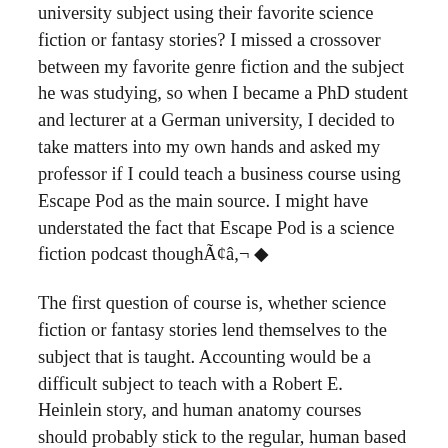university subject using their favorite science fiction or fantasy stories? I missed a crossover between my favorite genre fiction and the subject he was studying, so when I became a PhD student and lecturer at a German university, I decided to take matters into my own hands and asked my professor if I could teach a business course using Escape Pod as the main source. I might have understated the fact that Escape Pod is a science fiction podcast thoughÃ¢â,¬ ◆
The first question of course is, whether science fiction or fantasy stories lend themselves to the subject that is taught. Accounting would be a difficult subject to teach with a Robert E. Heinlein story, and human anatomy courses should probably stick to the regular, human based textbooks. There are certainly fields which are much more open to genre fiction, like anthropology, which Julianna